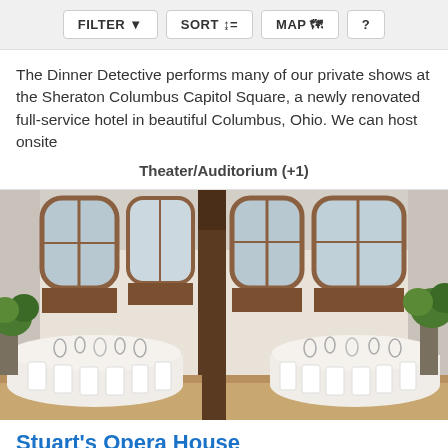FILTER | SORT | MAP | ?
The Dinner Detective performs many of our private shows at the Sheraton Columbus Capitol Square, a newly renovated full-service hotel in beautiful Columbus, Ohio. We can host onsite
Theater/Auditorium (+1)
[Figure (photo): Interior photo of an elegant banquet hall with white round tables set with glassware, white folding chairs, tall columns, large arched windows with wooden frames, and green plant decorations.]
Stuart's Opera House
26 miles from Lancaster, OH